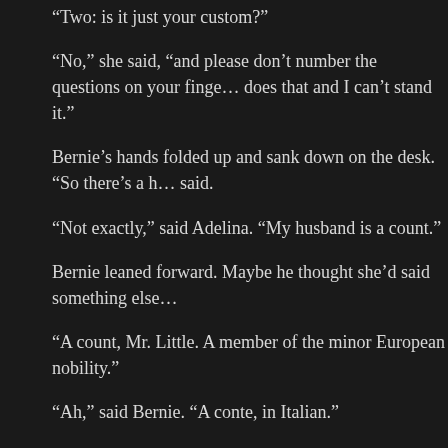“Two: is it just your custom?”
“No,” she said, “and please don’t number the questions on your fingers. My husband does that and I can’t stand it.”
Bernie’s hands folded up and sank down on the desk. “So there’s a husband,” he said.
“Not exactly,” said Adelina. “My husband is a count.”
Bernie leaned forward. Maybe he thought she’d said something else.
“A count, Mr. Little. A member of the minor European nobility.”
“Ah,” said Bernie. “A conte, in Italian.”
“Correct,” said Adelina.
“Making you a contessa,” said Bernie.
“Let’s not get into any of that,” she said. “You can call me Adelina.”
“And I’ll be Bernie,” said Bernie, with a little laugh, as though he’d cracked a joke. No laugh from Adelina, and in truth I didn’t get it either. Bernie can do that, too, much more noisily – a habit of his that usually means whatever had gone before. “It’s not your custom to retain a bodyguard